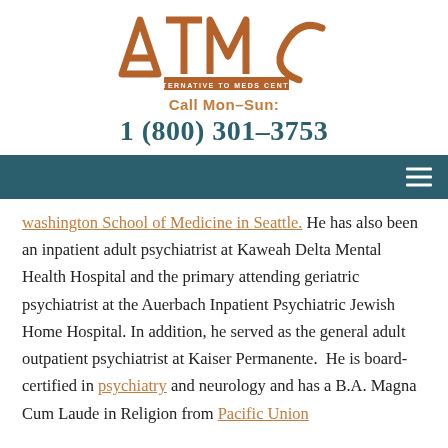[Figure (logo): ATMC - Alternative to Meds Center logo with large orange/brown letters ATMC and a banner below reading ALTERNATIVE TO MEDS CENTER]
Call Mon–Sun:
1 (800) 301–3753
washington School of Medicine in Seattle. He has also been an inpatient adult psychiatrist at Kaweah Delta Mental Health Hospital and the primary attending geriatric psychiatrist at the Auerbach Inpatient Psychiatric Jewish Home Hospital. In addition, he served as the general adult outpatient psychiatrist at Kaiser Permanente.  He is board-certified in psychiatry and neurology and has a B.A. Magna Cum Laude in Religion from Pacific Union